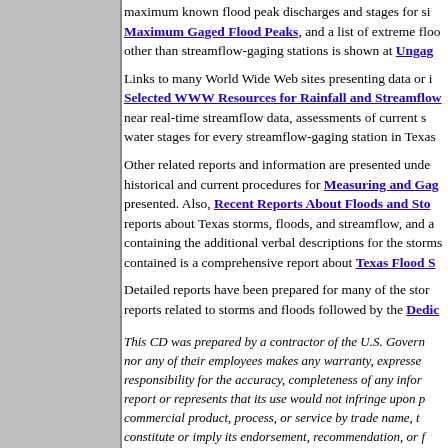maximum known flood peak discharges and stages for si... Maximum Gaged Flood Peaks, and a list of extreme floo... other than streamflow-gaging stations is shown at Ungag...
Links to many World Wide Web sites presenting data or i... Selected WWW Resources for Rainfall and Streamflo... near real-time streamflow data, assessments of current s... water stages for every streamflow-gaging station in Texas.
Other related reports and information are presented unde... historical and current procedures for Measuring and Gag... presented. Also, Recent Reports About Floods and Sto... reports about Texas storms, floods, and streamflow, and a... containing the additional verbal descriptions for the storms... contained is a comprehensive report about Texas Flood S...
Detailed reports have been prepared for many of the stor... reports related to storms and floods followed by the Dedi...
This CD was prepared by a contractor of the U.S. Govern... nor any of their employees makes any warranty, expresse... responsibility for the accuracy, completeness of any infor... report or represents that its use would not infringe upon p... commercial product, process, or service by trade name, t... constitute or imply its endorsement, recommendation, or f...
Although all data published on this CD have been used by... by the USGS, as to the accuracy of the data and related n... such warranty, and the USGS in the use of these data or n...
CD label:
Severe flooding in Houston, June 2001 (photograph cour...